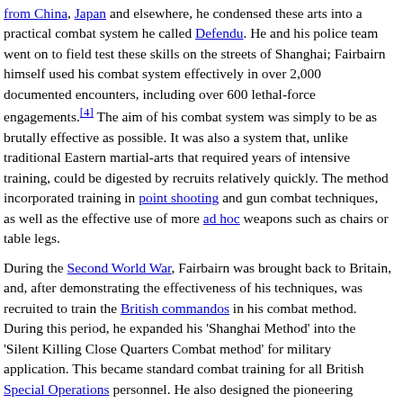from China, Japan and elsewhere, he condensed these arts into a practical combat system he called Defendu. He and his police team went on to field test these skills on the streets of Shanghai; Fairbairn himself used his combat system effectively in over 2,000 documented encounters, including over 600 lethal-force engagements.[4] The aim of his combat system was simply to be as brutally effective as possible. It was also a system that, unlike traditional Eastern martial-arts that required years of intensive training, could be digested by recruits relatively quickly. The method incorporated training in point shooting and gun combat techniques, as well as the effective use of more ad hoc weapons such as chairs or table legs.
During the Second World War, Fairbairn was brought back to Britain, and, after demonstrating the effectiveness of his techniques, was recruited to train the British commandos in his combat method. During this period, he expanded his 'Shanghai Method' into the 'Silent Killing Close Quarters Combat method' for military application. This became standard combat training for all British Special Operations personnel. He also designed the pioneering Fairbairn-Sykes fighting knife, which was adopted for use by British and American Special Forces. In 1942, he published a textbook for close quarters combat training called Get Tough.[4][5]